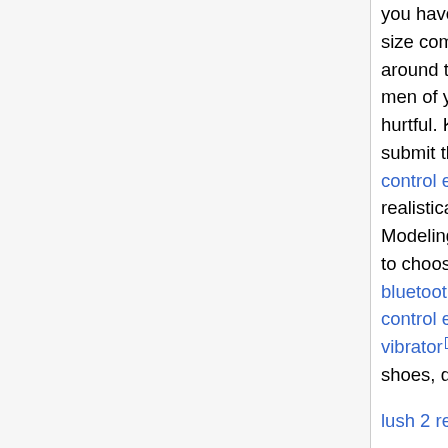you have. You don't want to end up being a plus size commercial mod-person being shopped around to employers are not looking for female or men of your size. This could be discouraging and hurtful. Knowing all your measurements and submit them ahead of time, lovense remote control egg vibrator [link] you'll be submitted for jobs realistically work with people of your size. Modeling advice tip number lush 2 by lovense [link] is to choose the measurements for your waist, hip, bluetooth remote control vibrator [link] lovense remote control egg vibrator [link] lush 2 remote control vibrator [link] bust and also the sizes for your shirts, shoes, dresses, and skirts.
lush 2 remote control vibrator [link] ) A rightly